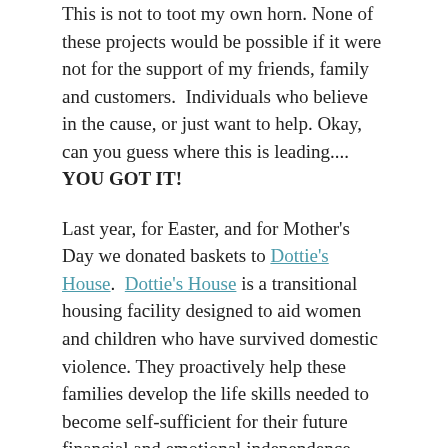This is not to toot my own horn. None of these projects would be possible if it were not for the support of my friends, family and customers.  Individuals who believe in the cause, or just want to help. Okay, can you guess where this is leading.... YOU GOT IT!
Last year, for Easter, and for Mother's Day we donated baskets to Dottie's House.  Dottie's House is a transitional housing facility designed to aid women and children who have survived domestic violence. They proactively help these families develop the life skills needed to become self-sufficient for their future financial and emotional independence.
Why is Dottie's House so special to me?  I was a child of domestic violence........  behind the doors of our seemingly normal middle class family, the was abuse.  My dad was an alcoholic and my mom suffered the consequences